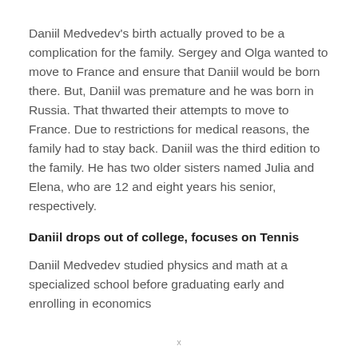Daniil Medvedev's birth actually proved to be a complication for the family. Sergey and Olga wanted to move to France and ensure that Daniil would be born there. But, Daniil was premature and he was born in Russia. That thwarted their attempts to move to France. Due to restrictions for medical reasons, the family had to stay back. Daniil was the third edition to the family. He has two older sisters named Julia and Elena, who are 12 and eight years his senior, respectively.
Daniil drops out of college, focuses on Tennis
Daniil Medvedev studied physics and math at a specialized school before graduating early and enrolling in economics
x